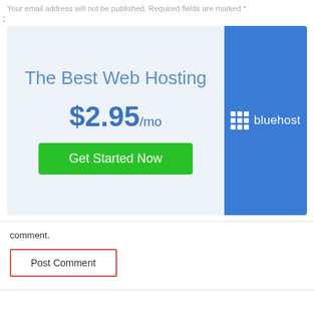Your email address will not be published. Required fields are marked *
[Figure (infographic): Bluehost web hosting advertisement banner. Left side has light blue background with text 'The Best Web Hosting', price '$2.95/mo', and a green 'Get Started Now' button. Right side is a solid blue panel with the Bluehost logo (grid icon and text).]
comment.
Post Comment